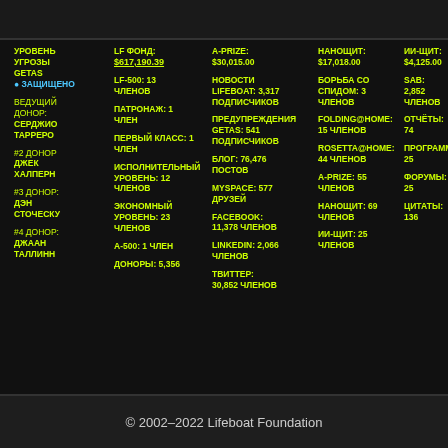УРОВЕНЬ УГРОЗЫ GETAS
● ЗАЩИЩЕНО
ВЕДУЩИЙ ДОНОР: СЕРДЖИО ТАРРЕРО
#2 ДОНОР ДЖЕК ХАЛПЕРН
#3 ДОНОР: ДЭН СТОЧЕСКУ
#4 ДОНОР: ДЖААН ТАЛЛИНН
LF ФОНД: $617,190.39
LF-500: 13 ЧЛЕНОВ
ПАТРОНАЖ: 1 ЧЛЕН
ПЕРВЫЙ КЛАСС: 1 ЧЛЕН
ИСПОЛНИТЕЛЬНЫЙ УРОВЕНЬ: 12 ЧЛЕНОВ
ЭКОНОМНЫЙ УРОВЕНЬ: 23 ЧЛЕНОВ
А-500: 1 ЧЛЕН
ДОНОРЫ: 5,356
A-PRIZE: $30,015.00
НОВОСТИ LIFEBOAT: 3,317 ПОДПИСЧИКОВ
ПРЕДУПРЕЖДЕНИЯ GETAS: 541 ПОДПИСЧИКОВ
БЛОГ: 76,476 ПОСТОВ
MYSPACE: 577 ДРУЗЕЙ
FACEBOOK: 11,378 ЧЛЕНОВ
LINKEDIN: 2,066 ЧЛЕНОВ
ТВИТТЕР: 30,852 ЧЛЕНОВ
НАНОЩИТ: $17,018.00
БОРЬБА СО СПИДОМ: 3 ЧЛЕНОВ
FOLDING@HOME: 15 ЧЛЕНОВ
ROSETTA@HOME: 44 ЧЛЕНОВ
A-PRIZE: 55 ЧЛЕНОВ
НАНОЩИТ: 69 ЧЛЕНОВ
ИИ-ЩИТ: 25 ЧЛЕНОВ
ИИ-ЩИТ: $4,125.00
SAB: 2,852 ЧЛЕНОВ
ОТЧЁТЫ: 74
ПРОГРАММ: 25
ФОРУМЫ: 25
ЦИТАТЫ: 136
© 2002–2022 Lifeboat Foundation